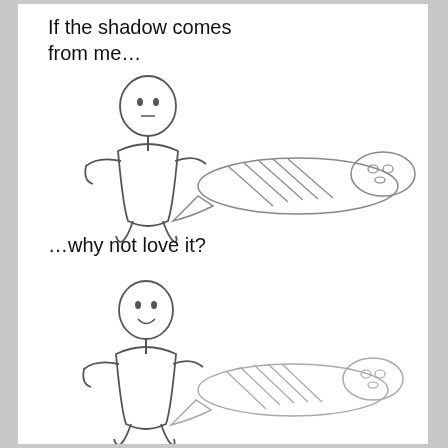If the shadow comes from me...
[Figure (illustration): A simple stick-figure person with a neutral face casting a long shadow shaped like a person lying flat, with diagonal lines and oval spots on the shadow.]
...why not love it?
[Figure (illustration): A simple stick-figure person with a happy smiling face casting a long shadow shaped like a person lying flat, with diagonal lines and oval spots on the shadow. The figure appears to embrace or accept the shadow.]